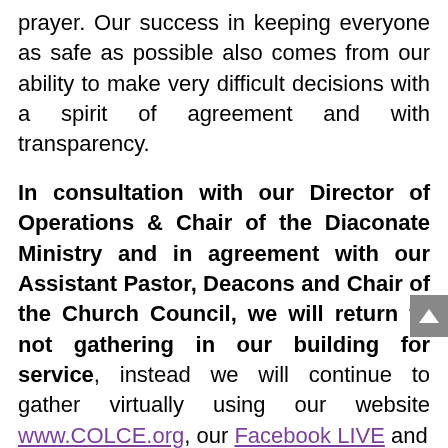prayer. Our success in keeping everyone as safe as possible also comes from our ability to make very difficult decisions with a spirit of agreement and with transparency.
In consultation with our Director of Operations & Chair of the Diaconate Ministry and in agreement with our Assistant Pastor, Deacons and Chair of the Church Council, we will return to not gathering in our building for service, instead we will continue to gather virtually using our website www.COLCE.org, our Facebook LIVE and